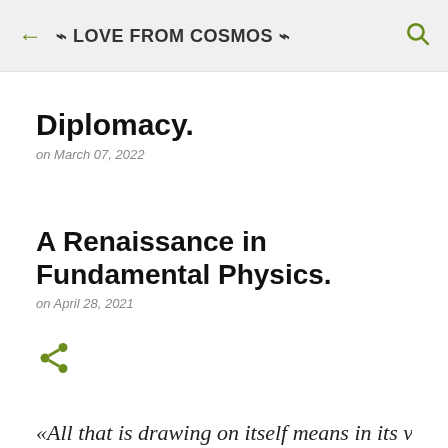← ⌁ LOVE FROM COSMOS ⌁
Diplomacy.
on March 07, 2022
A Renaissance in Fundamental Physics.
on April 28, 2021
« All that is drawing on itself means in its very self…